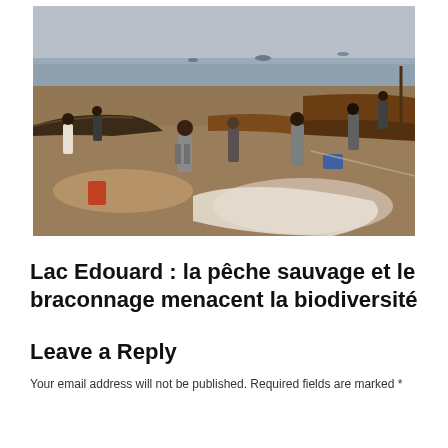[Figure (photo): Fishing scene on the shore of Lake Edward. Several people are standing on a sandy beach near traditional wooden fishing boats. Fishing nets are spread on the ground. The lake and overcast sky are visible in the background.]
Lac Edouard : la pêche sauvage et le braconnage menacent la biodiversité
Leave a Reply
Your email address will not be published. Required fields are marked *